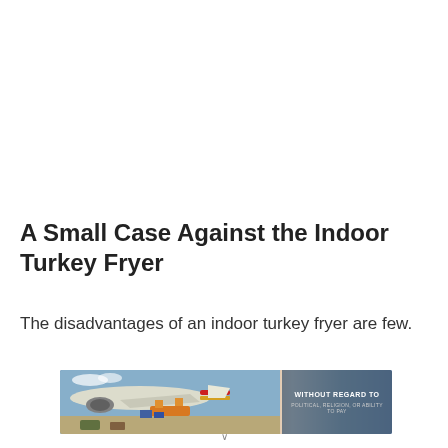A Small Case Against the Indoor Turkey Fryer
The disadvantages of an indoor turkey fryer are few.
[Figure (photo): An airplane being loaded with cargo on the tarmac, with a Southwest Airlines aircraft visible. An advertisement overlay on the right reads 'WITHOUT REGARD TO' in white text on a dark background.]